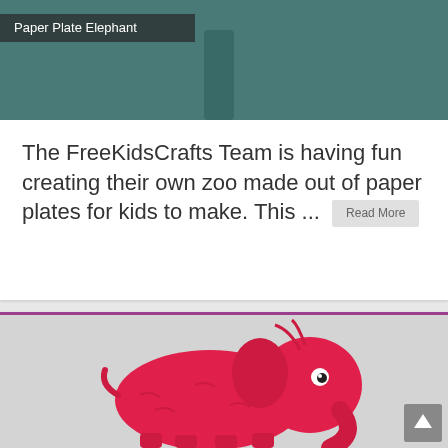[Figure (photo): Teal/green background image for Paper Plate Elephant craft with a label overlay reading 'Paper Plate Elephant' and a dark trunk shape visible]
Paper Plate Elephant
The FreeKidsCrafts Team is having fun creating their own zoo made out of paper plates for kids to make. This ...
[Figure (photo): Pink fluffy pipe-cleaner or yarn elephant craft against a light gray background, viewed from the side, with visible eye and trunk curled up]
[Figure (other): Scroll-to-top button (gray square with upward arrow) in the bottom right corner]